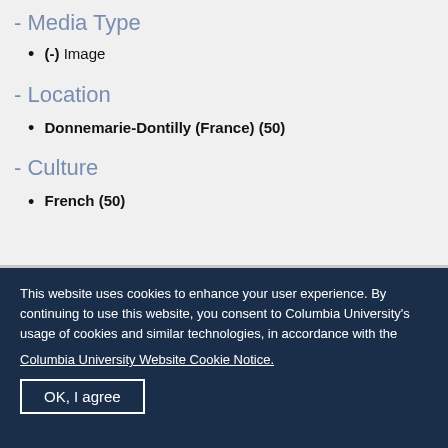- Media Type
(-) Image
- Location
Donnemarie-Dontilly (France) (50)
- Culture
French (50)
This website uses cookies to enhance your user experience. By continuing to use this website, you consent to Columbia University's usage of cookies and similar technologies, in accordance with the
Columbia University Website Cookie Notice.
OK, I agree